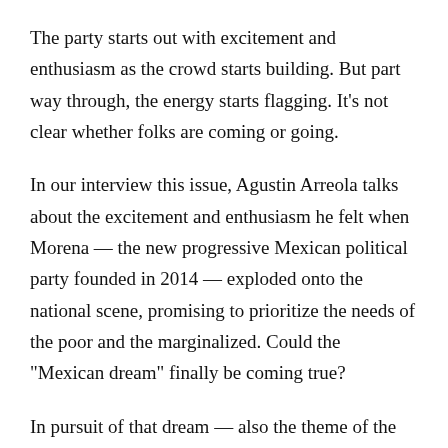The party starts out with excitement and enthusiasm as the crowd starts building. But part way through, the energy starts flagging. It’s not clear whether folks are coming or going.
In our interview this issue, Agustin Arreola talks about the excitement and enthusiasm he felt when Morena — the new progressive Mexican political party founded in 2014 — exploded onto the national scene, promising to prioritize the needs of the poor and the marginalized. Could the “Mexican dream” finally be coming true?
In pursuit of that dream — also the theme of the film we feature this week in Reflections — Arreola returned to his Mexican hometown of Jalisco from San Diego to become a Morena activist. But dreams, particularly utopian dreams,